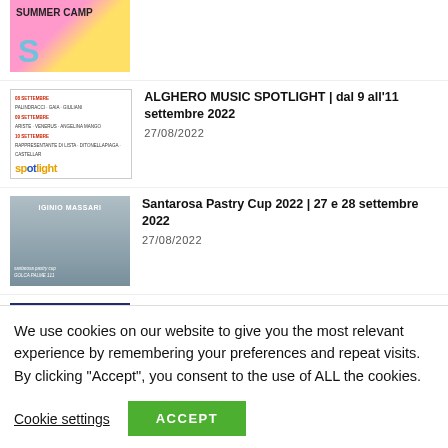SUMMER CAMP
ALGHERO MUSIC SPOTLIGHT | dal 9 all’11 settembre 2022
27/08/2022
Santarosa Pastry Cup 2022 | 27 e 28 settembre 2022
27/08/2022
Luglio Musicale Trapanese dal 30 agosto
We use cookies on our website to give you the most relevant experience by remembering your preferences and repeat visits. By clicking “Accept”, you consent to the use of ALL the cookies.
Cookie settings
ACCEPT